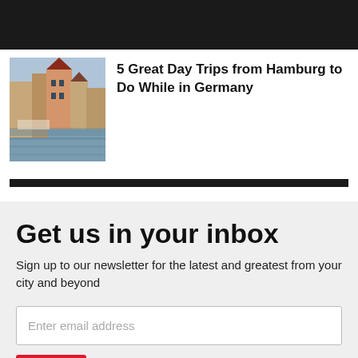[Figure (photo): Black top navigation bar]
[Figure (photo): Photo of Hamburg waterfront with colorful historic buildings and a river]
5 Great Day Trips from Hamburg to Do While in Germany
Get us in your inbox
Sign up to our newsletter for the latest and greatest from your city and beyond
Enter email address